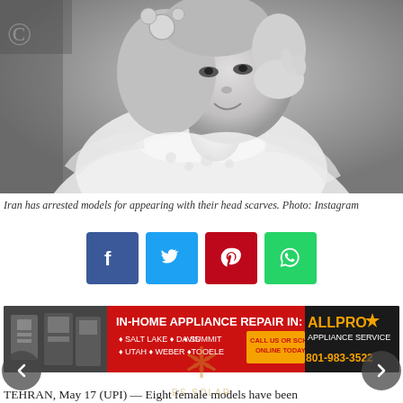[Figure (photo): Black and white portrait photo of a woman in a white lace dress with decorative hair accessories, smiling and touching her face]
Iran has arrested models for appearing with their head scarves. Photo: Instagram
[Figure (infographic): Social media share buttons: Facebook (blue), Twitter (cyan), Pinterest (red), WhatsApp (green)]
[Figure (infographic): AllPro Appliance Service advertisement banner - In-Home Appliance Repair In: Salt Lake, Davis, Summit, Utah, Weber, Tooele. Call us or schedule online today! 801-983-3522]
TEHRAN, May 17 (UPI) — Eight female models have been